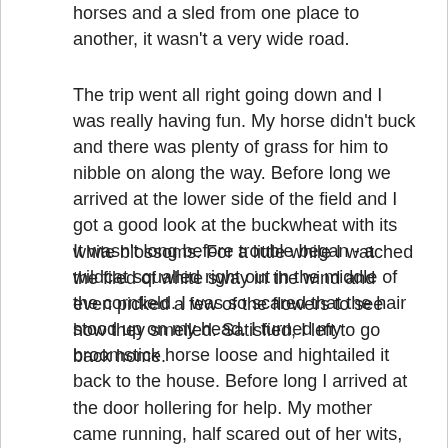horses and a sled from one place to another, it wasn't a very wide road.
The trip went all right going down and I was really having fun. My horse didn't buck and there was plenty of grass for him to nibble on along the way. Before long we arrived at the lower side of the field and I got a good look at the buckwheat with its white blossoms. For a little while I watched the filed of white sway in the wind and even picked a few of the flowers to see how they smelled. Satisfied, I left to go back home.
It wasn't long before trouble began - a wildcat squalled right out in the middle of the cornfield. I was so scared that the hair stood up on my head. I turned my broomstick horse loose and hightailed it back to the house. Before long I arrived at the door hollering for help. My mother came running, half scared out of her wits, to see what was wrong. She told me that I was as white as the old Maytag wringer washing machine standing on the porch. I told her about the wildcat and we went inside.